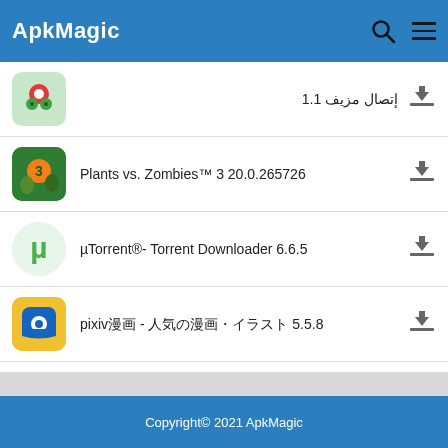ApkMagic
إتصال مزيف 1.1
Plants vs. Zombies™ 3 20.0.265726
µTorrent®- Torrent Downloader 6.6.5
pixiv漫画 - 人気の漫画・イラスト 5.5.8
موسوعة الاعشاب الطبيه 5.5
Copyright© 2021 ApkMagic